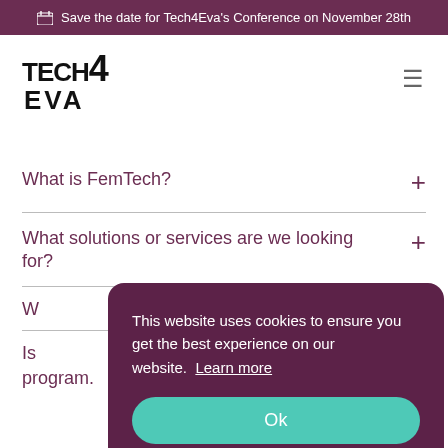Save the date for Tech4Eva's Conference on November 28th
[Figure (logo): Tech4Eva logo with bold text TECH4EVA]
What is FemTech?
What solutions or services are we looking for?
W
Is program.
This website uses cookies to ensure you get the best experience on our website. Learn more
Ok